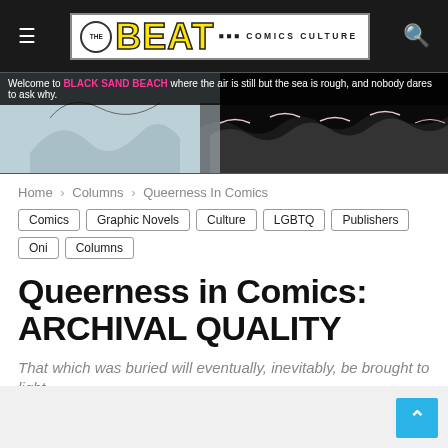THE BEAT — COMICS CULTURE
[Figure (illustration): Black Sand Beach banner illustration with text: Welcome to BLACK SAND BEACH where the air is still but the sea is rough, and nobody dares to ask why.]
Home > Columns > Queerness In Comics
Comics
Graphic Novels
Culture
LGBTQ
Publishers
Oni
Columns
Queerness in Comics: ARCHIVAL QUALITY
That which was buried will eventually, inevitably, be brought to light.
By Avery Kaplan - 10/03/2019 2:00 pm   💬 1